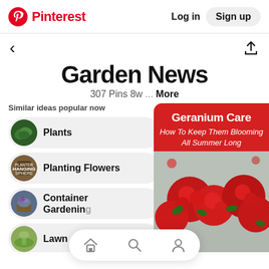Pinterest  Log in  Sign up
< (back arrow) (share icon)
Garden News
307 Pins 8w ... More
Similar ideas popular now
Plants
Planting Flowers
Container Gardening
Lawn And Garden
[Figure (screenshot): Geranium Care - How To Keep Them Blooming All Summer Long - red banner with text over photo of red geranium flowers]
Home Search Profile (bottom nav icons)